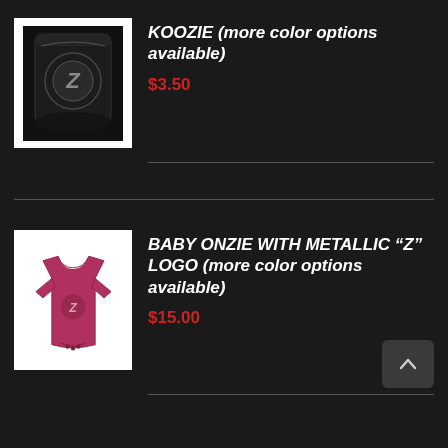[Figure (photo): Black koozie with Z logo design]
KOOZIE (more color options available)
$3.50
[Figure (photo): Pink/maroon baby onesie with metallic Z logo]
BABY ONZIE WITH METALLIC “Z” LOGO (more color options available)
$15.00